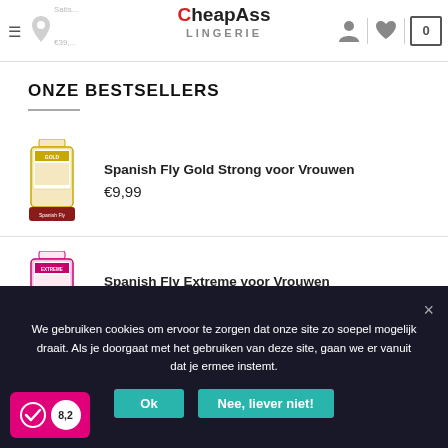CheapAss LINGERIE — Satisf... Next Generation Vibrato... €39,... header with icons
ONZE BESTSELLERS
[Figure (photo): Product photo of Spanish Fly Gold Strong voor Vrouwen bottle with packaging]
Spanish Fly Gold Strong voor Vrouwen
€9,99
[Figure (photo): Product photo of Spanish Fly Extreme voor Vrouwen bottle with packaging]
Spanish Fly Extreme voor Vrouwen
€9,99
We gebruiken cookies om ervoor te zorgen dat onze site zo soepel mogelijk draait. Als je doorgaat met het gebruiken van deze site, gaan we er vanuit dat je ermee instemt.
Ok
Nee, liever niet!
8,2